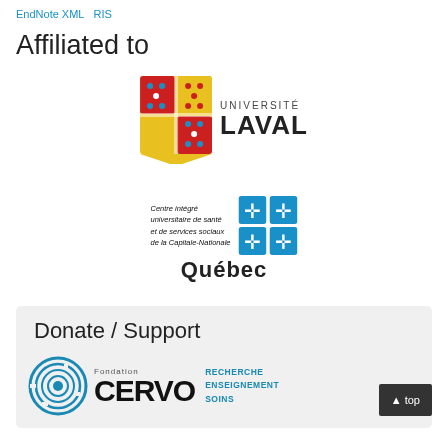EndNote XML  RIS
Affiliated to
[Figure (logo): Université Laval logo with heraldic shield in red, yellow, and blue, and the text UNIVERSITÉ LAVAL]
[Figure (logo): Centre intégré universitaire de santé et de services sociaux de la Capitale-Nationale Québec logo with blue fleur-de-lis cross symbols]
Donate / Support
[Figure (logo): Fondation CERVO logo with circular brain maze icon and text CERVO RECHERCHE ENSEIGNEMENT SOINS in blue]